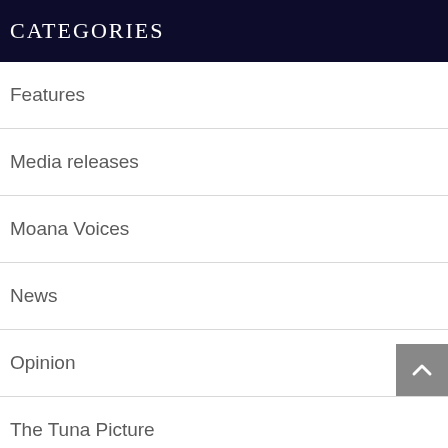CATEGORIES
Features
Media releases
Moana Voices
News
Opinion
The Tuna Picture
OUR AUTHORS